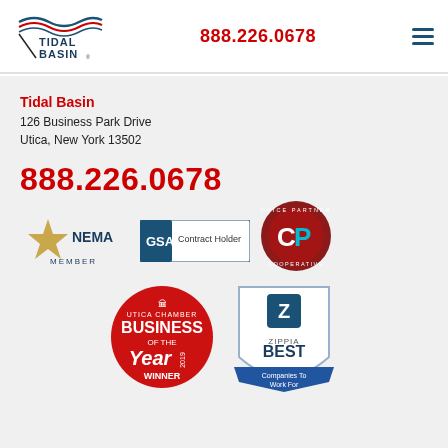[Figure (logo): Tidal Basin logo with wave graphic in red, white and blue and company name]
888.226.0678
[Figure (other): Hamburger menu icon (three horizontal lines in navy blue)]
Tidal Basin
126 Business Park Drive
Utica, New York 13502
888.226.0678
[Figure (logo): NEMA Member logo - gold star with NEMA text and MEMBER below]
[Figure (logo): GSA Contract Holder logo - blue square with GSA text and Contract Holder text]
[Figure (logo): Choice Partners Cooperative circular badge logo in dark red with CP initials in center]
[Figure (logo): Utica Chamber Business of the Year Winner red circular badge]
[Figure (logo): Zippia BEST Companies To Work For 2019 shield badge in blue and grey]